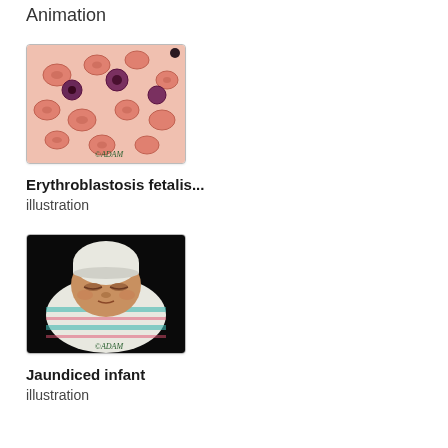Animation
[Figure (photo): Microscopic image of blood cells showing erythroblastosis fetalis - red blood cells of various sizes and dark purple nucleated cells on a pink background, labeled with ADAM watermark]
Erythroblastosis fetalis...
illustration
[Figure (photo): Photo of a jaundiced newborn infant wrapped in a striped hospital blanket with a white hat, eyes closed, sleeping, labeled with ADAM watermark]
Jaundiced infant
illustration